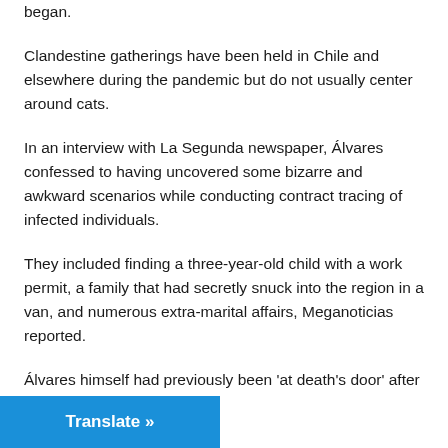began.
Clandestine gatherings have been held in Chile and elsewhere during the pandemic but do not usually center around cats.
In an interview with La Segunda newspaper, Álvares confessed to having uncovered some bizarre and awkward scenarios while conducting contract tracing of infected individuals.
They included finding a three-year-old child with a work permit, a family that had secretly snuck into the region in a van, and numerous extra-marital affairs, Meganoticias reported.
Álvares himself had previously been 'at death's door' after
Translate »